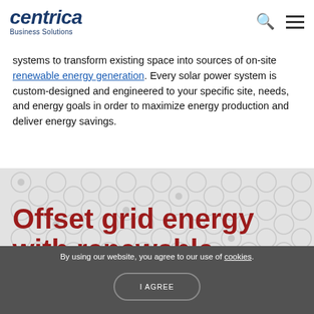[Figure (logo): Centrica Business Solutions logo — italic bold dark blue 'centrica' text above smaller 'Business Solutions' text]
systems to transform existing space into sources of on-site renewable energy generation. Every solar power system is custom-designed and engineered to your specific site, needs, and energy goals in order to maximize energy production and deliver energy savings.
Offset grid energy with renewable
By using our website, you agree to our use of cookies.
I AGREE